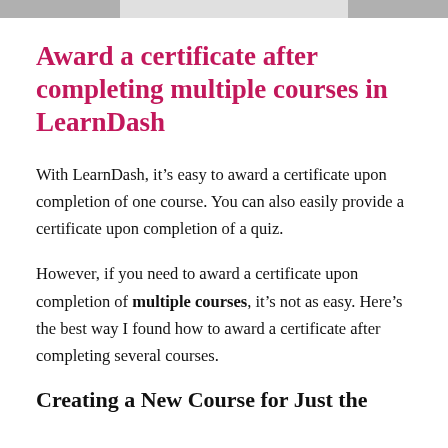Award a certificate after completing multiple courses in LearnDash
With LearnDash, it’s easy to award a certificate upon completion of one course. You can also easily provide a certificate upon completion of a quiz.
However, if you need to award a certificate upon completion of multiple courses, it’s not as easy. Here’s the best way I found how to award a certificate after completing several courses.
Creating a New Course for Just the